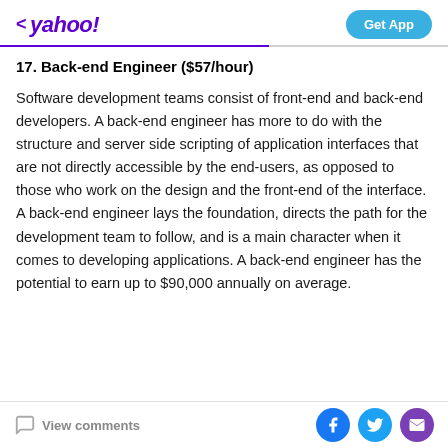yahoo! Get App
17. Back-end Engineer ($57/hour)
Software development teams consist of front-end and back-end developers. A back-end engineer has more to do with the structure and server side scripting of application interfaces that are not directly accessible by the end-users, as opposed to those who work on the design and the front-end of the interface. A back-end engineer lays the foundation, directs the path for the development team to follow, and is a main character when it comes to developing applications. A back-end engineer has the potential to earn up to $90,000 annually on average.
View comments